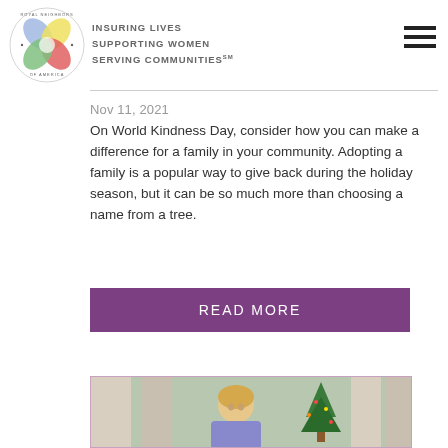[Figure (logo): Royal Neighbors of America circular logo with colorful petals]
INSURING LIVES
SUPPORTING WOMEN
SERVING COMMUNITIES℠
Nov 11, 2021
On World Kindness Day, consider how you can make a difference for a family in your community. Adopting a family is a popular way to give back during the holiday season, but it can be so much more than choosing a name from a tree.
READ MORE
[Figure (photo): Woman with blonde hair in front of a Christmas tree]